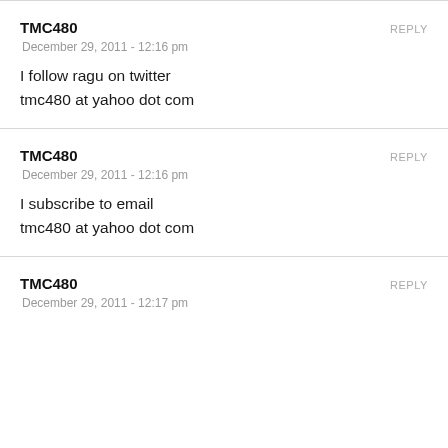TMC480
December 29, 2011 - 12:16 pm
I follow ragu on twitter
tmc480 at yahoo dot com
TMC480
December 29, 2011 - 12:16 pm
I subscribe to email
tmc480 at yahoo dot com
TMC480
December 29, 2011 - 12:17 pm